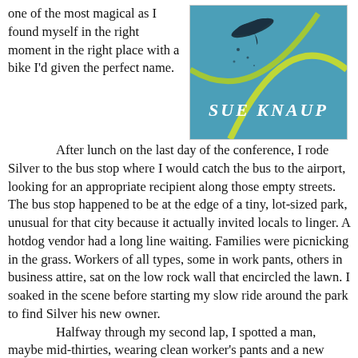one of the most magical as I found myself in the right moment in the right place with a bike I'd given the perfect name.
[Figure (illustration): Book cover with blue background, yellow swooping line, dark bird or hang-glider silhouette, and author name 'SUE KNAUP' in white handwritten text]
After lunch on the last day of the conference, I rode Silver to the bus stop where I would catch the bus to the airport, looking for an appropriate recipient along those empty streets. The bus stop happened to be at the edge of a tiny, lot-sized park, unusual for that city because it actually invited locals to linger. A hotdog vendor had a long line waiting. Families were picnicking in the grass. Workers of all types, some in work pants, others in business attire, sat on the low rock wall that encircled the lawn. I soaked in the scene before starting my slow ride around the park to find Silver his new owner.
Halfway through my second lap, I spotted a man, maybe mid-thirties, wearing clean worker's pants and a new plaid shirt, who had just bought a hot dog. The man glanced at Silver as he moved to the...